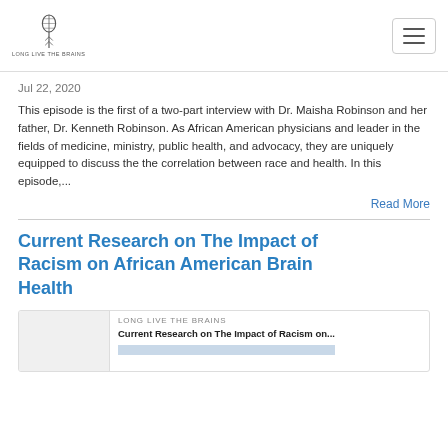Long Live The Brains — navigation header with logo and hamburger menu
Jul 22, 2020
This episode is the first of a two-part interview with Dr. Maisha Robinson and her father, Dr. Kenneth Robinson. As African American physicians and leader in the fields of medicine, ministry, public health, and advocacy, they are uniquely equipped to discuss the the correlation between race and health. In this episode,...
Read More
Current Research on The Impact of Racism on African American Brain Health
[Figure (screenshot): Card preview showing 'LONG LIVE THE BRAINS' source label, title 'Current Research on The Impact of Racism on...' and a gray image placeholder bar below]